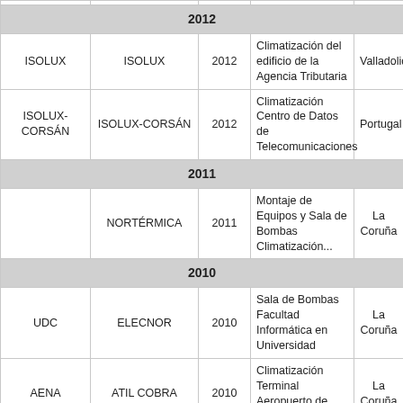|  |  |  |  |  |
| --- | --- | --- | --- | --- |
| 2012 |  |  |  |  |
| ISOLUX | ISOLUX | 2012 | Climatización del edificio de la Agencia Tributaria | Valladolid |
| ISOLUX-CORSÁN | ISOLUX-CORSÁN | 2012 | Climatización Centro de Datos de Telecomunicaciones | Portugal |
| 2011 |  |  |  |  |
|  | NORTÉRMICA | 2011 | Montaje de Equipos y Sala de Bombas Climatización... | La Coruña |
| 2010 |  |  |  |  |
| UDC | ELECNOR | 2010 | Sala de Bombas Facultad Informática en Universidad | La Coruña |
| AENA | ATIL COBRA | 2010 | Climatización Terminal Aeropuerto de Alvedro | La Coruña |
| 2008 |  |  |  |  |
|  | SOCLESA | 2008/09 | Climatización nuevo Terminal Aeropuerto | Málaga |